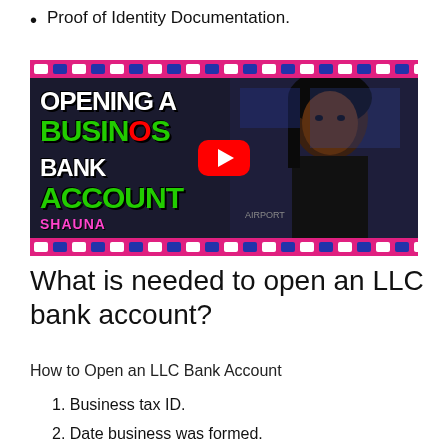Proof of Identity Documentation.
[Figure (screenshot): YouTube video thumbnail for 'Opening a Business Bank Account' featuring a woman and bold text. Text overlays read: OPENING A, BUSINESS, BANK, ACCOUNT, and SHAUNA at the bottom left. A YouTube play button is centered on the image.]
What is needed to open an LLC bank account?
How to Open an LLC Bank Account
Business tax ID.
Date business was formed.